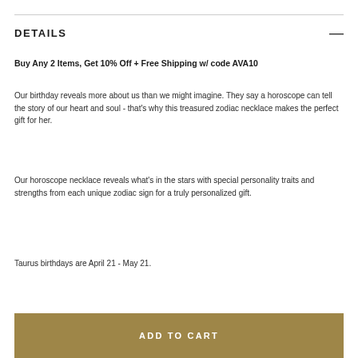DETAILS
Buy Any 2 Items, Get 10% Off + Free Shipping w/ code AVA10
Our birthday reveals more about us than we might imagine. They say a horoscope can tell the story of our heart and soul - that's why this treasured zodiac necklace makes the perfect gift for her.
Our horoscope necklace reveals what's in the stars with special personality traits and strengths from each unique zodiac sign for a truly personalized gift.
Taurus birthdays are April 21 - May 21.
ADD TO CART